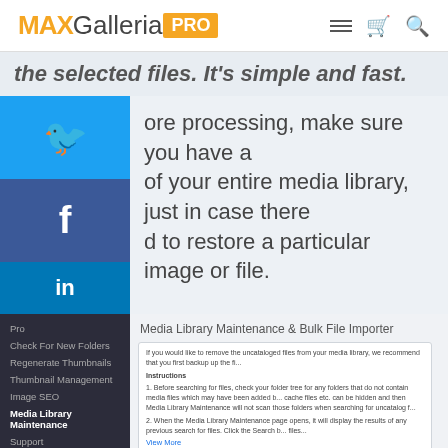MAXGalleriaPRO
the selected files. It's simple and fast.
ore processing, make sure you have a of your entire media library, just in case there d to restore a particular image or file.
[Figure (screenshot): Media Library Maintenance & Bulk File Importer panel with instructions, info box, buttons for Search For Uncataloged Files, Stop Search, Resume Search, Select Leave All, Select Delete All, Select Im..., and a checkbox for Automatically remove file size from imported thumbnail images names.]
Media Library Maintenance & Bulk File Importer
If you would like to remove the uncataloged files from your media library, we recommend that you first backup up the fi...
Instructions
1. Before searching for files, check your folder tree for any folders that do not contain media files which may have been added b... cache files etc. can be hidden and then Media Library Maintenance will not scan those folders when searching for uncatalog f...
2. When the Media Library Maintenance page opens, it will display the results of any previous search for files. Click the Search b... files...
View More